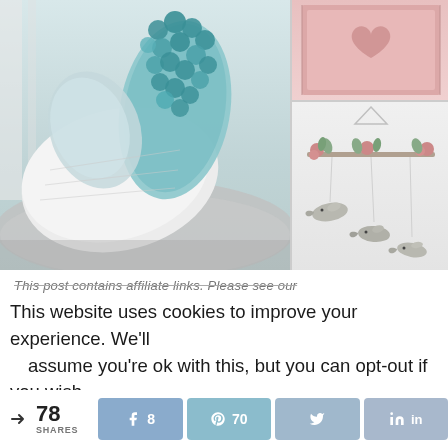[Figure (photo): Two product photos side by side: left shows a white quilted mermaid pillow with teal scalloped tail against a nursery background; right top shows a pink wall art piece; right bottom shows a hummingbird mobile with flowers and gray birds hanging from a branch.]
This post contains affiliate links. Please see our
This website uses cookies to improve your experience. We'll assume you're ok with this, but you can opt-out if you wish.
< 78 SHARES  [Facebook] 8  [Pinterest] 70  [Twitter]  [LinkedIn]